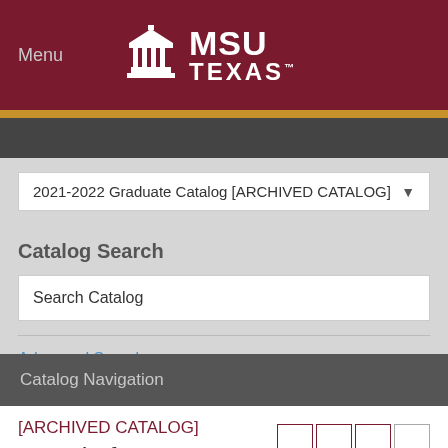Menu | MSU TEXAS
2021-2022 Graduate Catalog [ARCHIVED CATALOG]
Catalog Search
Search Catalog
Advanced Search
Catalog Navigation
[ARCHIVED CATALOG]
Board of Regents